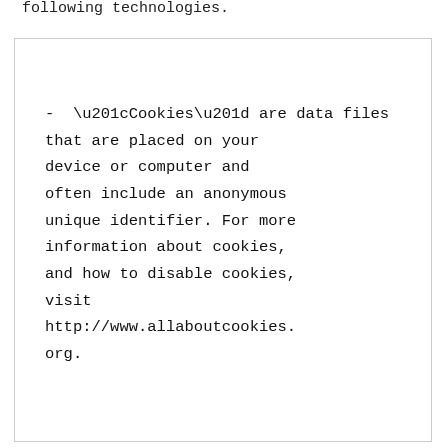following technologies:
- “Cookies” are data files that are placed on your device or computer and often include an anonymous unique identifier. For more information about cookies, and how to disable cookies, visit http://www.allaboutcookies.org.